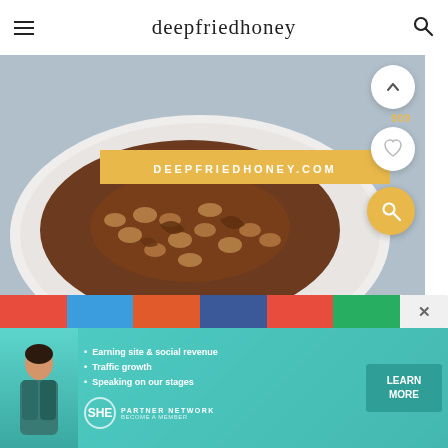deepfriedhoney
[Figure (photo): Close-up photo of baked beans with meat in a white plate on a blue/grey background, with a yellow banner overlay reading DEEPFRIEDHONEY.COM and floating buttons for scroll-up, heart/save, and search on the right side]
[Figure (screenshot): Social sharing bar with colored buttons (red, blue, orange, blue, red, green) and a close X button]
[Figure (infographic): Advertisement banner for SHE Partner Network with teal background, woman's photo on left, bullet points: Earning site & social revenue, Traffic growth, Speaking on our stages, SHE Partner Network logo, and LEARN MORE button]